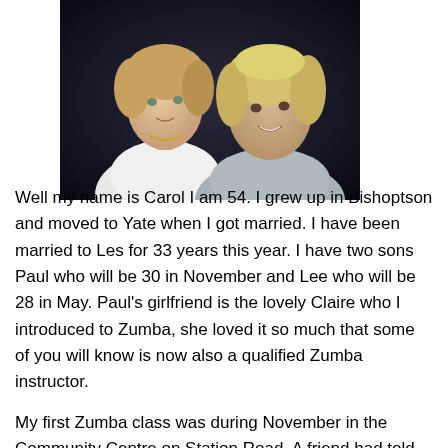[Figure (photo): Two women posing together for a portrait photo against a dark background. One woman on the left has lighter blonde hair and wears a white jacket. The woman on the right has short blonde hair and is smiling.]
Well my name is Carol I am 54. I grew up in Bishoptson and moved to Yate when I got married. I have been married to Les for 33 years this year. I have two sons Paul who will be 30 in November and Lee who will be 28 in May. Paul's girlfriend is the lovely Claire who I introduced to Zumba, she loved it so much that some of you will know is now also a qualified Zumba instructor.
My first Zumba class was during November in the Community Centre on Station Road. A friend had told me